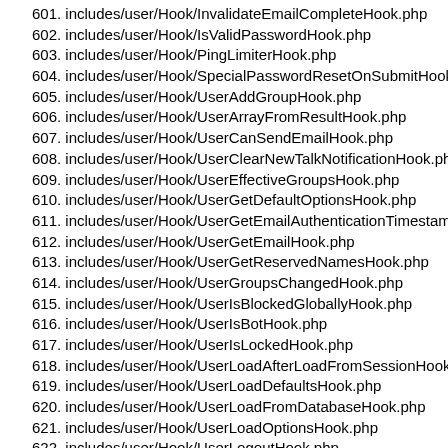601. includes/user/Hook/InvalidateEmailCompleteHook.php
602. includes/user/Hook/IsValidPasswordHook.php
603. includes/user/Hook/PingLimiterHook.php
604. includes/user/Hook/SpecialPasswordResetOnSubmitHook.php
605. includes/user/Hook/UserAddGroupHook.php
606. includes/user/Hook/UserArrayFromResultHook.php
607. includes/user/Hook/UserCanSendEmailHook.php
608. includes/user/Hook/UserClearNewTalkNotificationHook.php
609. includes/user/Hook/UserEffectiveGroupsHook.php
610. includes/user/Hook/UserGetDefaultOptionsHook.php
611. includes/user/Hook/UserGetEmailAuthenticationTimestampH...
612. includes/user/Hook/UserGetEmailHook.php
613. includes/user/Hook/UserGetReservedNamesHook.php
614. includes/user/Hook/UserGroupsChangedHook.php
615. includes/user/Hook/UserIsBlockedGloballyHook.php
616. includes/user/Hook/UserIsBotHook.php
617. includes/user/Hook/UserIsLockedHook.php
618. includes/user/Hook/UserLoadAfterLoadFromSessionHook.php
619. includes/user/Hook/UserLoadDefaultsHook.php
620. includes/user/Hook/UserLoadFromDatabaseHook.php
621. includes/user/Hook/UserLoadOptionsHook.php
622. includes/user/Hook/UserLogoutHook.php
623. includes/user/Hook/UserRemoveGroupHook.php
624. includes/user/Hook/UserRequiresHTTPSHook.php
625. includes/user/Hook/UserResetAllOptionsHook.php